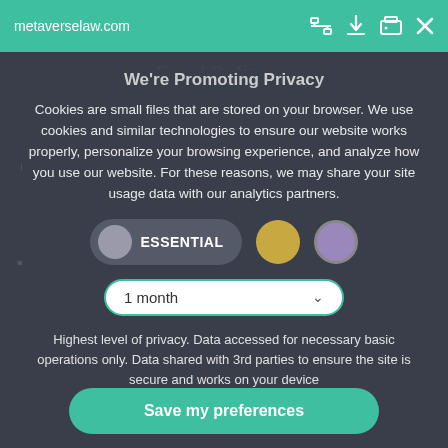metaverselaw.com
We're Promoting Privacy
Cookies are small files that are stored on your browser. We use cookies and similar technologies to ensure our website works properly, personalize your browsing experience, and analyze how you use our website. For these reasons, we may share your site usage data with our analytics partners.
[Figure (screenshot): Cookie consent toggle controls: ESSENTIAL toggle button (dark pill with grey circle icon and white ESSENTIAL label), a gold/yellow circle toggle, and a purple circle toggle. Below them is a dropdown selector showing '1 month' with a chevron.]
Highest level of privacy. Data accessed for necessary basic operations only. Data shared with 3rd parties to ensure the site is secure and works on your device
Save my preferences